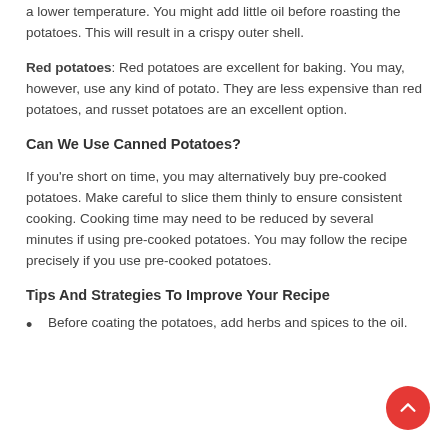a lower temperature. You might add little oil before roasting the potatoes. This will result in a crispy outer shell.
Red potatoes: Red potatoes are excellent for baking. You may, however, use any kind of potato. They are less expensive than red potatoes, and russet potatoes are an excellent option.
Can We Use Canned Potatoes?
If you're short on time, you may alternatively buy pre-cooked potatoes. Make careful to slice them thinly to ensure consistent cooking. Cooking time may need to be reduced by several minutes if using pre-cooked potatoes. You may follow the recipe precisely if you use pre-cooked potatoes.
Tips And Strategies To Improve Your Recipe
Before coating the potatoes, add herbs and spices to the oil.